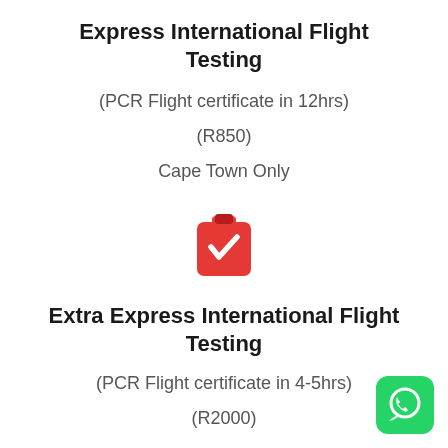Express International Flight Testing
(PCR Flight certificate in 12hrs)
(R850)
Cape Town Only
[Figure (illustration): Red clipboard icon with a white checkmark]
Extra Express International Flight Testing
(PCR Flight certificate in 4-5hrs)
(R2000)
[Figure (logo): WhatsApp green icon button in bottom right corner]